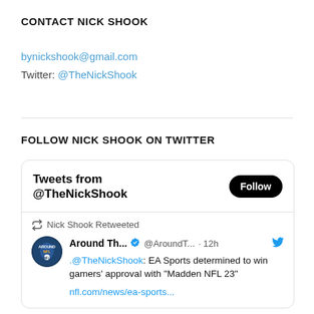CONTACT NICK SHOOK
bynickshook@gmail.com
Twitter: @TheNickShook
FOLLOW NICK SHOOK ON TWITTER
[Figure (screenshot): Twitter/X widget showing 'Tweets from @TheNickShook' with a Follow button and a retweeted post by Around The NFL saying '.@TheNickShook: EA Sports determined to win gamers' approval with "Madden NFL 23"' with a link to nfl.com/news/ea-sports...]